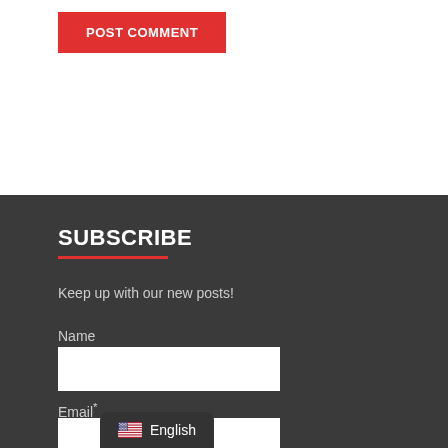POST COMMENT
SUBSCRIBE
Keep up with our new posts!
Name
Email*
SUBSCRIBE
English